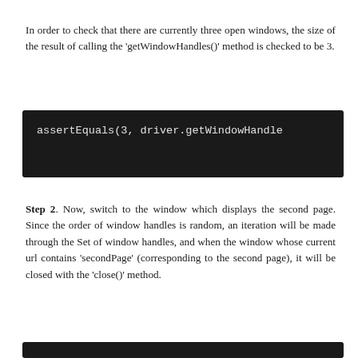In order to check that there are currently three open windows, the size of the result of calling the 'getWindowHandles()' method is checked to be 3.
[Figure (screenshot): Dark code block showing: assertEquals(3, driver.getWindowHandle]
Step 2. Now, switch to the window which displays the second page. Since the order of window handles is random, an iteration will be made through the Set of window handles, and when the window whose current url contains 'secondPage' (corresponding to the second page), it will be closed with the 'close()' method.
[Figure (screenshot): Dark code block partially visible at bottom of page]